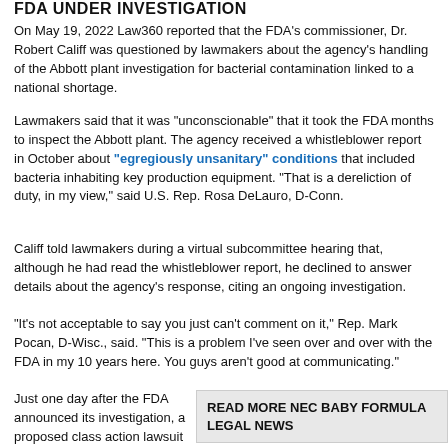FDA UNDER INVESTIGATION
On May 19, 2022 Law360 reported that the FDA's commissioner, Dr. Robert Califf was questioned by lawmakers about the agency's handling of the Abbott plant investigation for bacterial contamination linked to a national shortage.
Lawmakers said that it was "unconscionable" that it took the FDA months to inspect the Abbott plant. The agency received a whistleblower report in October about "egregiously unsanitary" conditions that included bacteria inhabiting key production equipment. "That is a dereliction of duty, in my view," said U.S. Rep. Rosa DeLauro, D-Conn.
Califf told lawmakers during a virtual subcommittee hearing that, although he had read the whistleblower report, he declined to answer details about the agency's response, citing an ongoing investigation.
"It's not acceptable to say you just can't comment on it," Rep. Mark Pocan, D-Wisc., said. "This is a problem I've seen over and over with the FDA in my 10 years here. You guys aren't good at communicating."
Just one day after the FDA announced its investigation, a proposed class action lawsuit was filed against Abbot
READ MORE NEC BABY FORMULA LEGAL NEWS
Abbott Formula and 'Absurd' Loophole
[Figure (infographic): Red CTA button reading REQUEST LEGAL HELP NOW! with FREE badge]
aby Formula